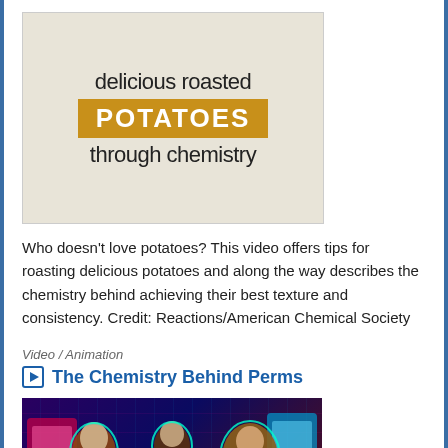[Figure (illustration): Video thumbnail for 'Delicious Roasted Potatoes Through Chemistry' — light beige background with handwritten-style text saying 'delicious roasted' above, a golden-brown banner reading 'POTATOES' in bold uppercase, and 'through chemistry' below.]
Who doesn't love potatoes? This video offers tips for roasting delicious potatoes and along the way describes the chemistry behind achieving their best texture and consistency. Credit: Reactions/American Chemical Society
Video / Animation
The Chemistry Behind Perms
[Figure (photo): Video thumbnail showing three 1980s-styled women with big permed hair against a colorful retro arcade/neon background with glowing outlines.]